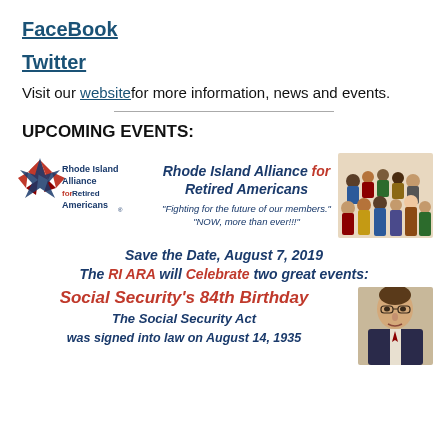FaceBook
Twitter
Visit our website for more information, news and events.
UPCOMING EVENTS:
[Figure (logo): Rhode Island Alliance for Retired Americans logo and banner with group photo, tagline 'Fighting for the future of our members.' 'NOW, more than ever!!!']
Save the Date, August 7, 2019
The RI ARA will Celebrate two great events:
Social Security's 84th Birthday The Social Security Act was signed into law on August 14, 1935